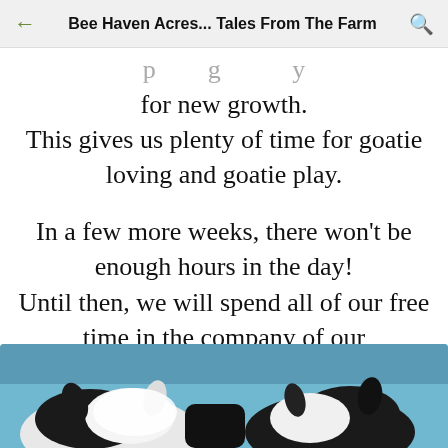Bee Haven Acres... Tales From The Farm
for new growth.
This gives us plenty of time for goatie loving and goatie play.
In a few more weeks, there won't be enough hours in the day!
Until then, we will spend all of our free time in the company of our babies.
[Figure (photo): Photo of black and white goats snuggling together against a blue background, viewed from above/behind showing their heads and ears.]